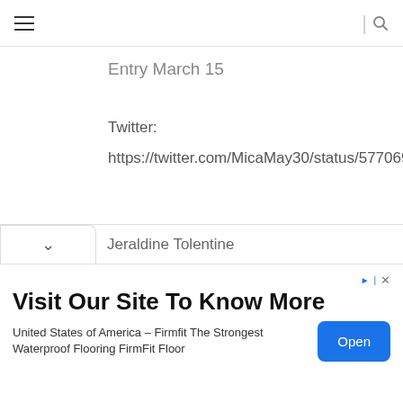≡ | 🔍
Entry March 15
Twitter:
https://twitter.com/MicaMay30/status/577069316157415424
Facebook:
https://twitter.com/MicaMay30/status/577069316157415424
REPLY
Jeraldine Tolentine
Visit Our Site To Know More
United States of America – Firmfit The Strongest Waterproof Flooring FirmFit Floor
Open